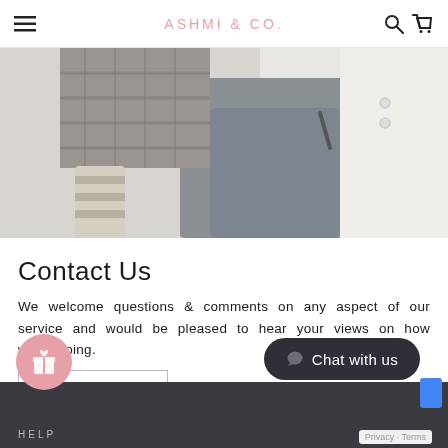ASHMI & CO.
[Figure (photo): Close-up photo of children wearing knit clothing — plaid shorts, striped knee socks, and gray knit romper, held by adult hands in white sweater]
Contact Us
We welcome questions & comments on any aspect of our service and would be pleased to hear your views on how we're doing.
REACH OUT
HELP